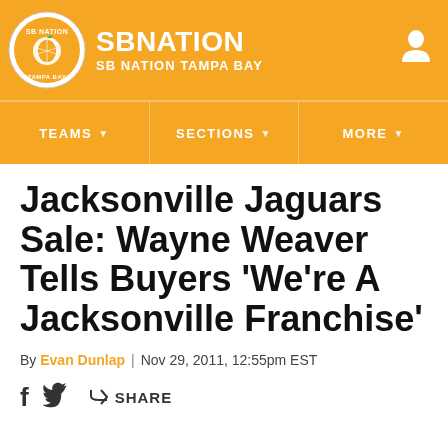SB NATION / SB NATION TAMPA BAY
Jacksonville Jaguars Sale: Wayne Weaver Tells Buyers 'We're A Jacksonville Franchise'
By Evan Dunlap | Nov 29, 2011, 12:55pm EST
SHARE